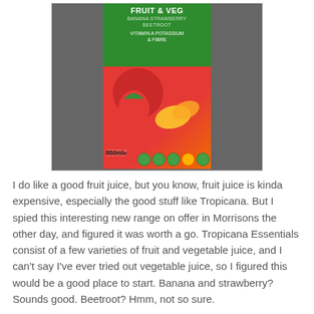[Figure (photo): Photo of a Tropicana Essentials Fruit & Veg juice carton (Banana Strawberry Beetroot flavour, 850ml) placed on a dark granite surface. The carton has a green top section with white text reading FRUIT & VEG, BANANA STRAWBERRY BEETROOT, VITAMIN A POTASSIUM & FIBRE, and a red lower section with images of strawberries and banana slices. Nutritional traffic light labels are visible at the bottom.]
I do like a good fruit juice, but you know, fruit juice is kinda expensive, especially the good stuff like Tropicana. But I spied this interesting new range on offer in Morrisons the other day, and figured it was worth a go. Tropicana Essentials consist of a few varieties of fruit and vegetable juice, and I can't say I've ever tried out vegetable juice, so I figured this would be a good place to start. Banana and strawberry? Sounds good. Beetroot? Hmm, not so sure.
Tropicana Essentials…